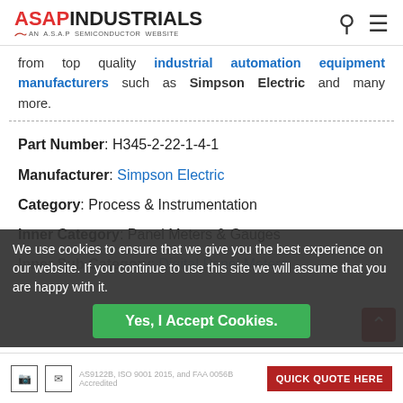ASAP INDUSTRIALS - AN A.S.A.P SEMICONDUCTOR WEBSITE
from top quality industrial automation equipment manufacturers such as Simpson Electric and many more.
Part Number: H345-2-22-1-4-1
Manufacturer: Simpson Electric
Category: Process & Instrumentation
Inner Category: Panel Meters & Gauges
Inner Sub Category: Digital Panel Meters
We use cookies to ensure that we give you the best experience on our website. If you continue to use this site we will assume that you are happy with it.
Yes, I Accept Cookies.
AS9122B, ISO 9001 2015, and FAA 0056B Accredited